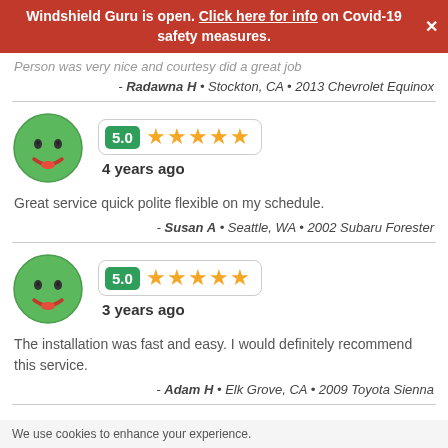Windshield Guru is open. Click here for info on Covid-19 safety measures.
Person was very nice and courtesy did a great job
- Radawna H • Stockton, CA • 2013 Chevrolet Equinox
[Figure (infographic): Green smiley face emoji with 5.0 star rating badge showing 5 gold stars and text '4 years ago']
Great service quick polite flexible on my schedule.
- Susan A • Seattle, WA • 2002 Subaru Forester
[Figure (infographic): Green smiley face emoji with 5.0 star rating badge showing 5 gold stars and text '3 years ago']
The installation was fast and easy. I would definitely recommend this service.
- Adam H • Elk Grove, CA • 2009 Toyota Sienna
We use cookies to enhance your experience.